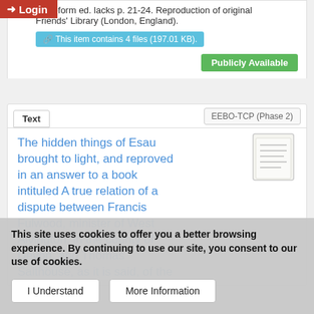microform ed. lacks p. 21-24. Reproduction of original Friends' Library (London, England).
This item contains 4 files (197.01 KB).
Publicly Available
Text
EEBO-TCP (Phase 2)
The hidden things of Esau brought to light, and reproved in an answer to a book intituled A true relation of a dispute between Francis Fulwood, minister of West Alvington, in the county of Devon, and Thomas Salthouse, as it is said, of the county of Westmerland, before the ...
This site uses cookies to offer you a better browsing experience. By continuing to use our site, you consent to our use of cookies.
I Understand
More Information